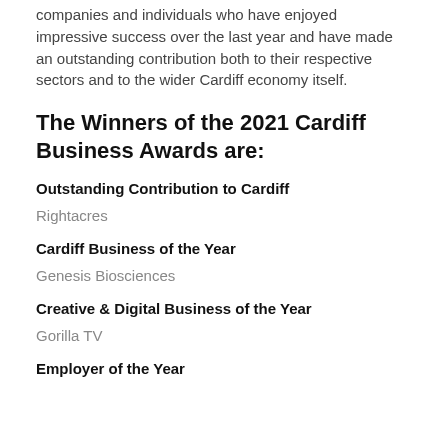companies and individuals who have enjoyed impressive success over the last year and have made an outstanding contribution both to their respective sectors and to the wider Cardiff economy itself.
The Winners of the 2021 Cardiff Business Awards are:
Outstanding Contribution to Cardiff
Rightacres
Cardiff Business of the Year
Genesis Biosciences
Creative & Digital Business of the Year
Gorilla TV
Employer of the Year